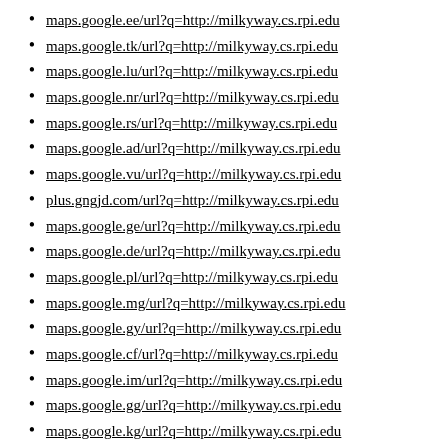maps.google.ee/url?q=http://milkyway.cs.rpi.edu
maps.google.tk/url?q=http://milkyway.cs.rpi.edu
maps.google.lu/url?q=http://milkyway.cs.rpi.edu
maps.google.nr/url?q=http://milkyway.cs.rpi.edu
maps.google.rs/url?q=http://milkyway.cs.rpi.edu
maps.google.ad/url?q=http://milkyway.cs.rpi.edu
maps.google.vu/url?q=http://milkyway.cs.rpi.edu
plus.gngjd.com/url?q=http://milkyway.cs.rpi.edu
maps.google.ge/url?q=http://milkyway.cs.rpi.edu
maps.google.de/url?q=http://milkyway.cs.rpi.edu
maps.google.pl/url?q=http://milkyway.cs.rpi.edu
maps.google.mg/url?q=http://milkyway.cs.rpi.edu
maps.google.gy/url?q=http://milkyway.cs.rpi.edu
maps.google.cf/url?q=http://milkyway.cs.rpi.edu
maps.google.im/url?q=http://milkyway.cs.rpi.edu
maps.google.gg/url?q=http://milkyway.cs.rpi.edu
maps.google.kg/url?q=http://milkyway.cs.rpi.edu
maps.google.la/url?q=http://milkyway.cs.rpi.edu
maps.google.tl/url?q=http://milkyway.cs.rpi.edu